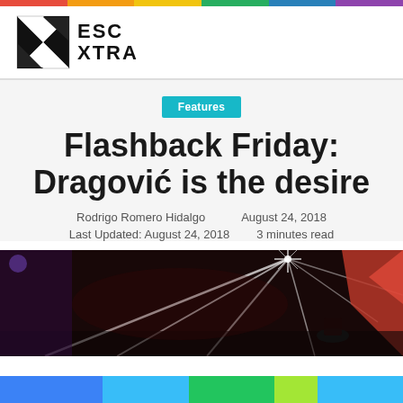[Figure (logo): ESC XTRA logo with X graphic and text]
Features
Flashback Friday: Dragović is the desire
Rodrigo Romero Hidalgo    August 24, 2018
Last Updated: August 24, 2018    3 minutes read
[Figure (photo): Concert performance photo with stage lights and performer silhouette]